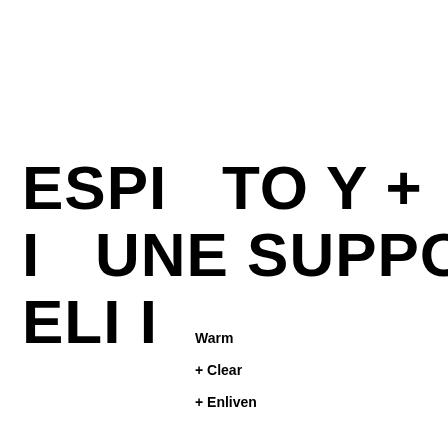ESPI  TO Y +
I  UNE SUPPO T
ELI I
Warm
+ Clear
+ Enliven